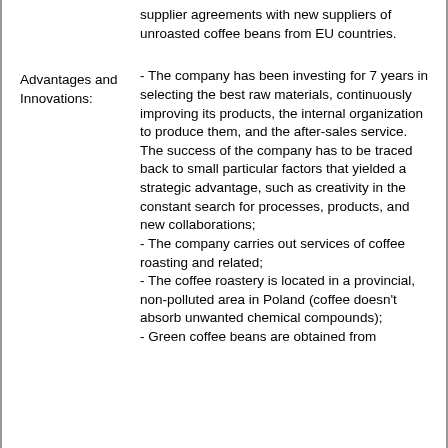supplier agreements with new suppliers of unroasted coffee beans from EU countries.
Advantages and Innovations:
- The company has been investing for 7 years in selecting the best raw materials, continuously improving its products, the internal organization to produce them, and the after-sales service.
The success of the company has to be traced back to small particular factors that yielded a strategic advantage, such as creativity in the constant search for processes, products, and new collaborations;
- The company carries out services of coffee roasting and related;
- The coffee roastery is located in a provincial, non-polluted area in Poland (coffee doesn't absorb unwanted chemical compounds);
- Green coffee beans are obtained from